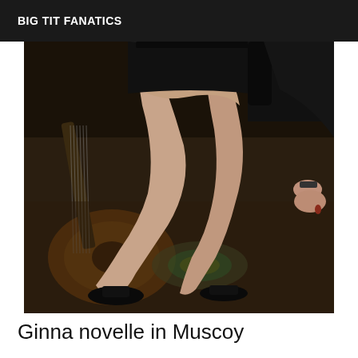BIG TIT FANATICS
[Figure (photo): A woman in a black dress posing with legs crossed, wearing black high heels, sitting near an acoustic guitar on a dark floor.]
Ginna novelle in Muscoy